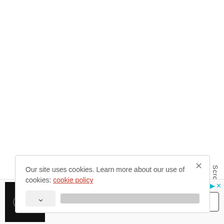Our site uses cookies. Learn more about our use of cookies: cookie policy
[Figure (screenshot): Advertisement banner for Volalto Luxury Vacation Rentals with logo, title 'Fully Staffed Villas', subtitle 'Volalto Luxury Vacation Rentals', and an Open button]